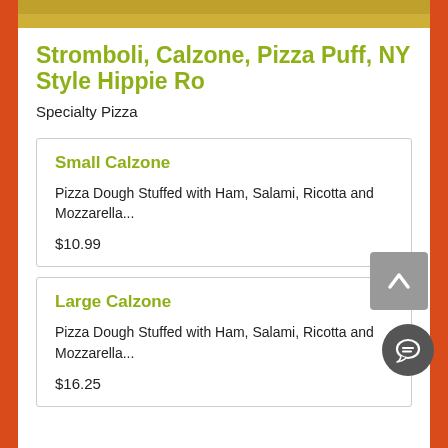[Figure (photo): Top banner image of food, partially visible at top of page]
Stromboli, Calzone, Pizza Puff, NY Style Hippie Ro
Specialty Pizza
Small Calzone
Pizza Dough Stuffed with Ham, Salami, Ricotta and Mozzarella...
$10.99
Large Calzone
Pizza Dough Stuffed with Ham, Salami, Ricotta and Mozzarella...
$16.25